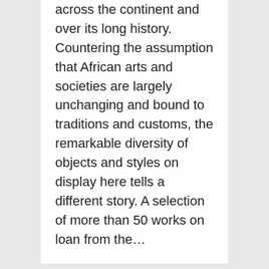across the continent and over its long history. Countering the assumption that African arts and societies are largely unchanging and bound to traditions and customs, the remarkable diversity of objects and styles on display here tells a different story. A selection of more than 50 works on loan from the…
[Figure (other): Shield-shaped calendar badge showing 2022 FEB 01 with a dark red top stripe and light grey body]
Mediterranean Marketplaces: Connecting the Ancient World
Tue Feb 1 (All day) to Wed Feb 1 (All